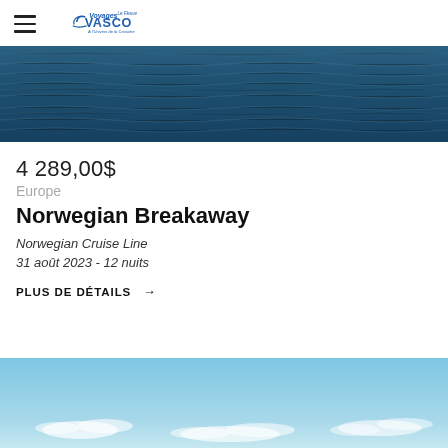Voyages Vasco Le Fleuve — À l'univers de la Croisière
[Figure (photo): Ocean surface with dark blue rippling water filling a wide horizontal banner]
4 289,00$
Europe
Norwegian Breakaway
Norwegian Cruise Line
31 août 2023 - 12 nuits
PLUS DE DÉTAILS →
[Figure (photo): Sky with light blue color and wispy white clouds at the bottom of the page]